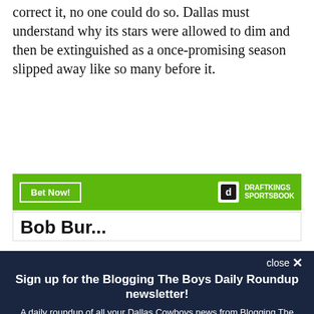correct it, no one could do so. Dallas must understand why its stars were allowed to dim and then be extinguished as a once-promising season slipped away like so many before it.
[Figure (screenshot): DraftKings Sportsbook advertisement banner with green background, 'Bet Now!' button on left and DraftKings Sportsbook logo on right]
[Figure (screenshot): Partially visible row showing beginning of bold text 'Bob Bur...' cut off]
[Figure (screenshot): Modal popup overlay with dark navy background: newsletter signup form for 'Blogging The Boys Daily Roundup newsletter' with email input and Subscribe button, plus close button, disclaimer text about Terms and Privacy Notice, reCAPTCHA, Google Privacy Policy and Terms of Service]